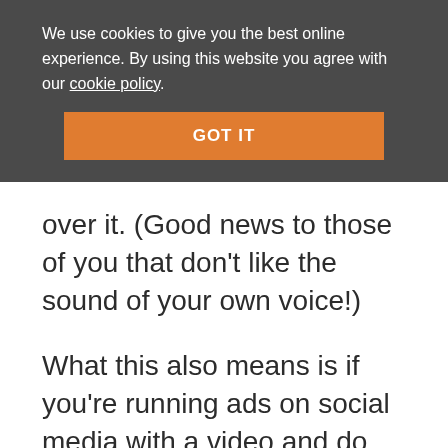We use cookies to give you the best online experience. By using this website you agree with our cookie policy.
GOT IT
over it. (Good news to those of you that don't like the sound of your own voice!)
What this also means is if you're running ads on social media with a video and do not have subtitles, you're wasting a big chunk of your ad spend.
I won't lie, adding subtitles isn't fun.